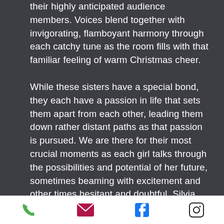their highly anticipated audience members. Voices blend together with invigorating, flamboyant harmony through each catchy tune as the room fills with that familiar feeling of warm Christmas cheer. While these sisters have a special bond, they each have a passion in life that sets them apart from each other, leading them down rather distant paths as that passion is pursued. We are there for their most crucial moments as each girl talks through the possibilities and potential of her future, sometimes beaming with excitement and other times hesitant and doubtful. Silvia has dreams of following in Eleanor
phone | email | facebook | instagram